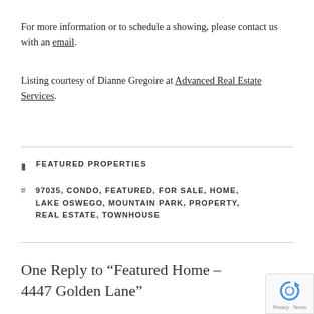For more information or to schedule a showing, please contact us with an email.
Listing courtesy of Dianne Gregoire at Advanced Real Estate Services.
FEATURED PROPERTIES
97035, CONDO, FEATURED, FOR SALE, HOME, LAKE OSWEGO, MOUNTAIN PARK, PROPERTY, REAL ESTATE, TOWNHOUSE
One Reply to “Featured Home – 4447 Golden Lane”